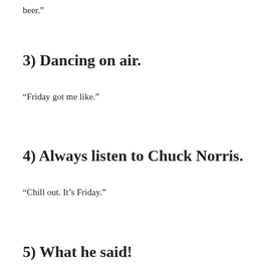beer.”
3) Dancing on air.
“Friday got me like.”
4) Always listen to Chuck Norris.
“Chill out. It’s Friday.”
5) What he said!
“It’s Friday madafakas!”